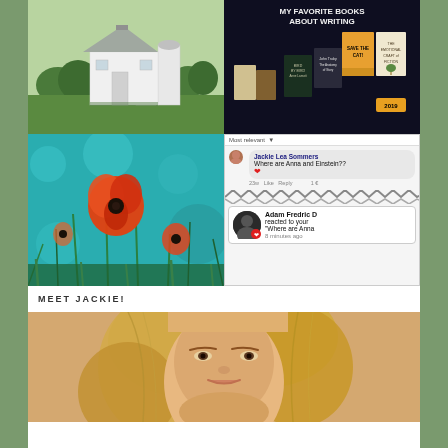[Figure (photo): White barn with silos in a green field with trees]
[Figure (photo): MY FAVORITE BOOKS ABOUT WRITING - collage of book covers including Save the Cat!, Bird by Bird, and others]
[Figure (photo): Close-up of red/orange poppies in a field of green grass with bokeh background]
[Figure (screenshot): Facebook comment and notification: Jackie Lea Sommers asks 'Where are Anna and Einstein??' with heart reaction. Adam Fredric D reacted to your 'Where are Anna' comment 8 minutes ago]
MEET JACKIE!
[Figure (photo): Portrait photo of a blonde woman (Jackie) cropped at forehead and chin level]